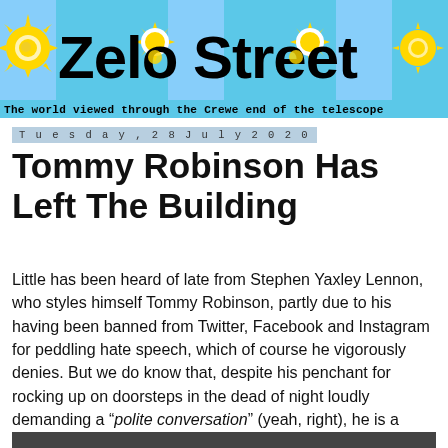Zelo Street — The world viewed through the Crewe end of the telescope
Tuesday, 28 July 2020
Tommy Robinson Has Left The Building
Little has been heard of late from Stephen Yaxley Lennon, who styles himself Tommy Robinson, partly due to his having been banned from Twitter, Facebook and Instagram for peddling hate speech, which of course he vigorously denies. But we do know that, despite his penchant for rocking up on doorsteps in the dead of night loudly demanding a "polite conversation" (yeah, right), he is a victim, honestly.
[Figure (photo): Partial photo at bottom of page, cropped]